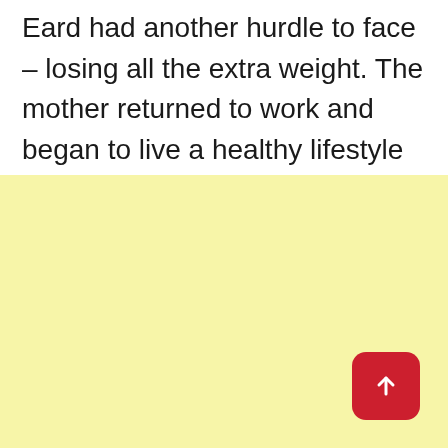Eard had another hurdle to face – losing all the extra weight. The mother returned to work and began to live a healthy lifestyle in order to regain control of her weight.
[Figure (other): A light yellow background section occupying the lower portion of the page, with a red rounded-rectangle scroll-to-top button with an upward arrow in the bottom-right corner.]